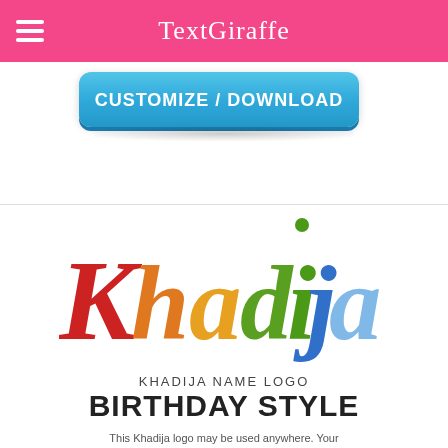TextGiraffe
[Figure (screenshot): Blue rounded button labeled CUSTOMIZE / DOWNLOAD]
[Figure (logo): Khadija name logo in multicolor birthday style text]
KHADIJA NAME LOGO
BIRTHDAY STYLE
This Khadija logo may be used anywhere. Your